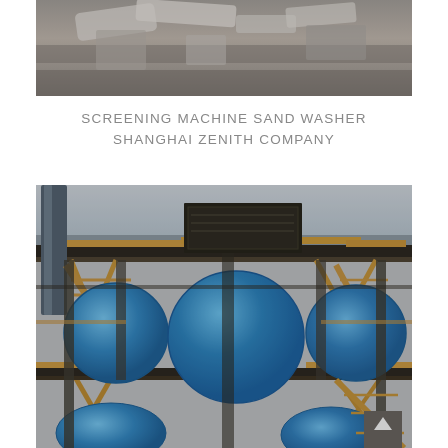[Figure (photo): Close-up photo of industrial machinery parts - concrete or metal pipes and structural elements, gray tones]
SCREENING MACHINE SAND WASHER SHANGHAI ZENITH COMPANY
[Figure (photo): Large industrial facility with blue spherical tanks supported by dark metal framework structures with yellow/brown railings and staircases, overcast sky background]